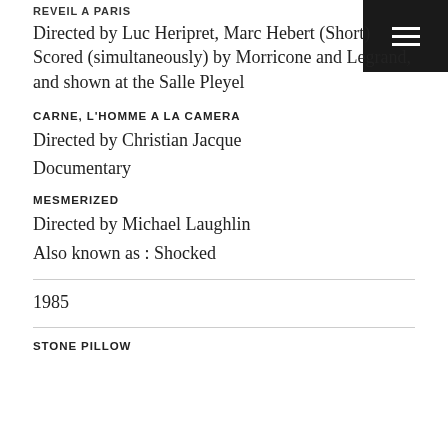REVEIL A PARIS
Directed by Luc Heripret, Marc Hebert (Short)
Scored (simultaneously) by Morricone and Legrand, and shown at the Salle Pleyel
CARNE, L'HOMME A LA CAMERA
Directed by Christian Jacque
Documentary
MESMERIZED
Directed by Michael Laughlin
Also known as : Shocked
1985
STONE PILLOW